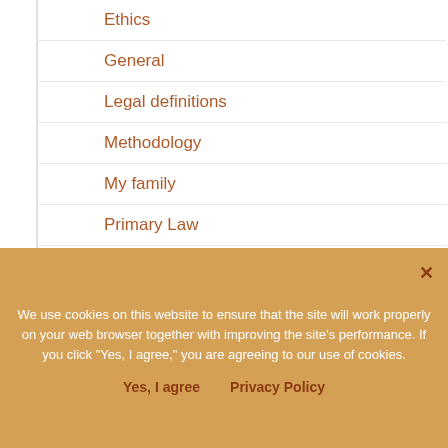Ethics
General
Legal definitions
Methodology
My family
Primary Law
Records Access
Resources
SSDI
Statutes
Terms of use
Archives
We use cookies on this website to ensure that the site will work properly on your web browser together with improving the site’s performance. If you click "Yes, I agree," you are agreeing to our use of cookies.
Yes, I agree   Privacy Policy